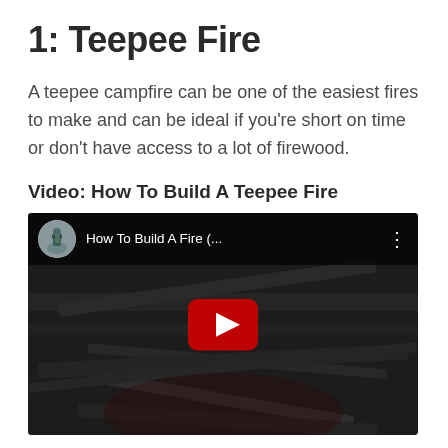1: Teepee Fire
A teepee campfire can be one of the easiest fires to make and can be ideal if you're short on time or don't have access to a lot of firewood.
Video: How To Build A Teepee Fire
[Figure (screenshot): YouTube video thumbnail showing 'How To Build A Fire (...' with a play button and a darkened image of wood/fire in background, with channel avatar in top bar.]
This one requires you to build a small